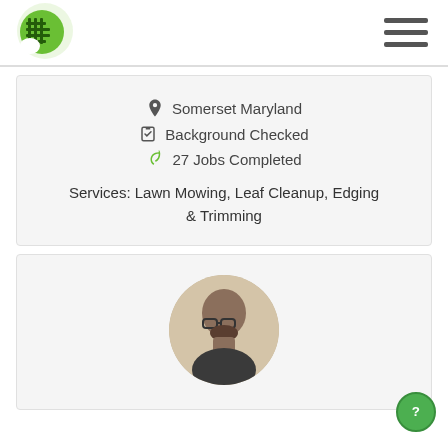[Figure (logo): Green circular logo with grid/bars pattern]
[Figure (illustration): Hamburger menu icon (three horizontal bars)]
Somerset Maryland
Background Checked
27 Jobs Completed
Services: Lawn Mowing, Leaf Cleanup, Edging & Trimming
[Figure (photo): Profile photo of a bald man with glasses and beard]